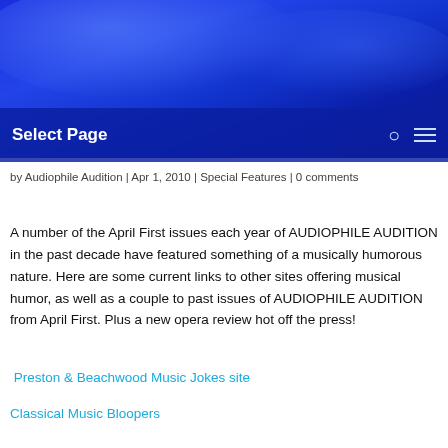[Figure (photo): Blue gradient header background with shimmering light effect]
Select Page
by Audiophile Audition | Apr 1, 2010 | Special Features | 0 comments
A number of the April First issues each year of AUDIOPHILE AUDITION in the past decade have featured something of a musically humorous nature. Here are some current links to other sites offering musical humor, as well as a couple to past issues of AUDIOPHILE AUDITION from April First. Plus a new opera review hot off the press!
Preston & Beachwood Music Jokes site
Classical Music Bloopers